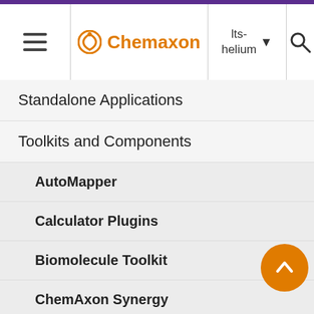Chemaxon | lts-helium
Standalone Applications
Toolkits and Components
AutoMapper
Calculator Plugins
Biomolecule Toolkit
ChemAxon Synergy
Document to Structure
JChem Base
JChem Choral